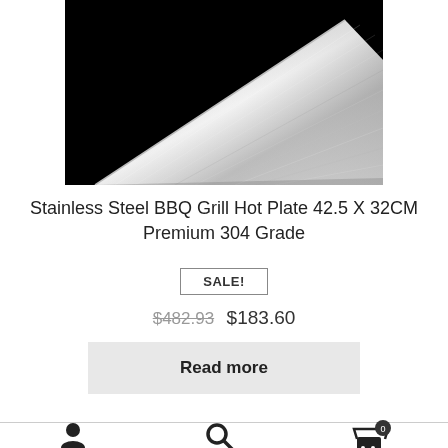[Figure (photo): Stainless steel plate on black background, showing brushed metallic surface]
Stainless Steel BBQ Grill Hot Plate 42.5 X 32CM Premium 304 Grade
SALE!
$482.93  $183.60
Read more